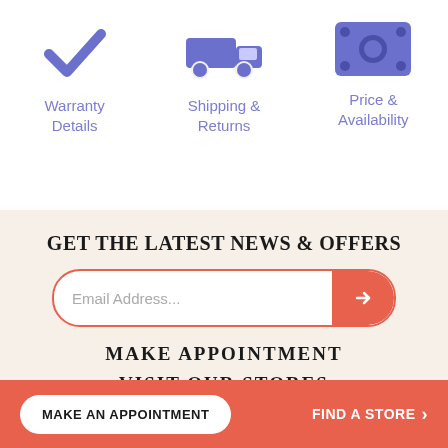[Figure (illustration): Blue checkmark icon above 'Warranty Details' text]
Warranty Details
[Figure (illustration): Blue delivery truck icon above 'Shipping & Returns' text]
Shipping & Returns
[Figure (illustration): Blue banknote/money icon above 'Price & Availability' text]
Price & Availability
GET THE LATEST NEWS & OFFERS
Email Address...
MAKE APPOINTMENT
VISIT OUR STORES
MAKE AN APPOINTMENT
FIND A STORE >